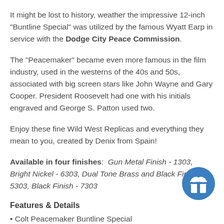It might be lost to history, weather the impressive 12-inch "Buntline Special" was utilized by the famous Wyatt Earp in service with the Dodge City Peace Commission.
The "Peacemaker" became even more famous in the film industry, used in the westerns of the 40s and 50s, associated with big screen stars like John Wayne and Gary Cooper. President Roosevelt had one with his initials engraved and George S. Patton used two.
Enjoy these fine Wild West Replicas and everything they mean to you, created by Denix from Spain!
Available in four finishes: Gun Metal Finish - 1303, Bright Nickel - 6303, Dual Tone Brass and Black Finish - 5303, Black Finish - 7303
Features & Details
• Colt Peacemaker Buntline Special